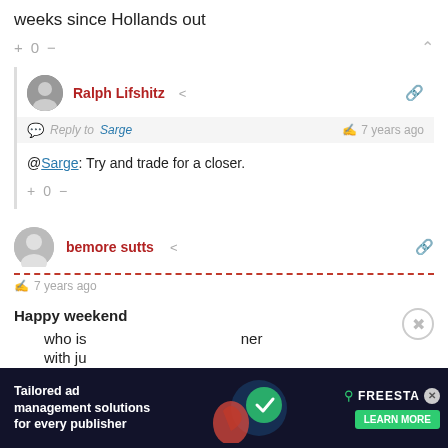weeks since Hollands out
+ 0 −
Ralph Lifshitz
Reply to Sarge  7 years ago
@Sarge: Try and trade for a closer.
+ 0 −
bemore sutts
7 years ago
Happy weekend
who is  ner with ju
[Figure (screenshot): Advertisement banner: 'Tailored ad management solutions for every publisher' with FREESTA brand logo and LEARN MORE button]